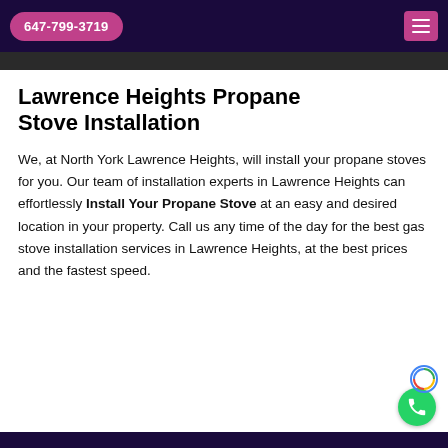647-799-3719
Lawrence Heights Propane Stove Installation
We, at North York Lawrence Heights, will install your propane stoves for you. Our team of installation experts in Lawrence Heights can effortlessly Install Your Propane Stove at an easy and desired location in your property. Call us any time of the day for the best gas stove installation services in Lawrence Heights, at the best prices and the fastest speed.